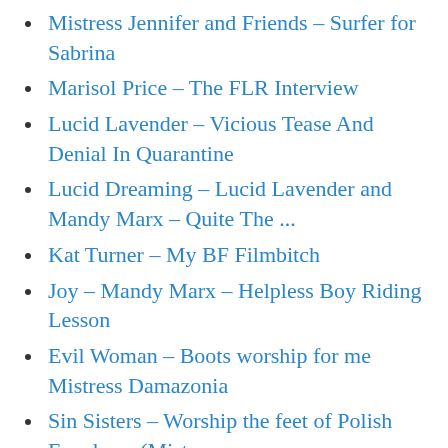Mistress Jennifer and Friends – Surfer for Sabrina
Marisol Price – The FLR Interview
Lucid Lavender – Vicious Tease And Denial In Quarantine
Lucid Dreaming – Lucid Lavender and Mandy Marx – Quite The ...
Kat Turner – My BF Filmbitch
Joy – Mandy Marx – Helpless Boy Riding Lesson
Evil Woman – Boots worship for me Mistress Damazonia
Sin Sisters – Worship the feet of Polish Femdoms (Mistress ...
Royal Femdom – Arse Licking Duties 4K Resolution
Goddistress Sophia Schema – Twisted to Seek...